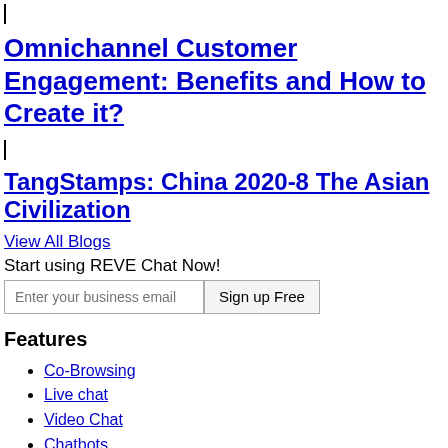Omnichannel Customer Engagement: Benefits and How to Create it?
TangStamps: China 2020-8 The Asian Civilization
View All Blogs
Start using REVE Chat Now!
Enter your business email  Sign up Free
Features
Co-Browsing
Live chat
Video Chat
Chatbots
Screen Sharing
Chat SDK
Applications
MOROCCO AGENCIES GV SG42, ½d green, M MINT.
Live Chat Plugin